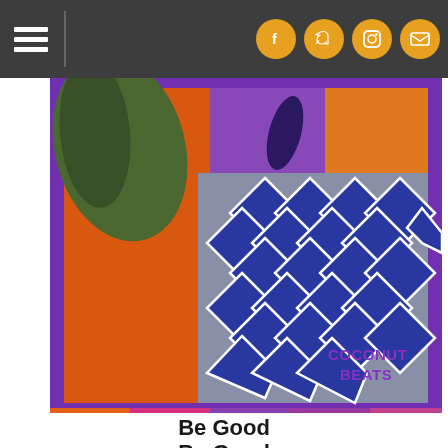Navigation header with hamburger menu and social icons (Facebook, Twitter, Instagram, Email)
[Figure (photo): Album cover art for 'Be Good' by Coconut Beats — colorful patchwork pattern with orange, purple, blue diamond/lattice textile design, with 'COCONUT BEATS' text in bottom right]
Be Good
LABEL: Last Gang
2017-08-25
MP3 Album: $0.99  DOWNLOAD
[Figure (photo): Bottom partial strip showing another colorful image with purple and orange tones]